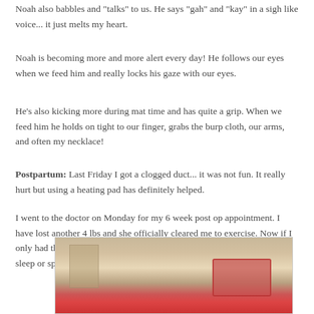Noah also babbles and "talks" to us.  He says "gah" and "kay" in a sigh like voice... it just melts my heart.
Noah is becoming more and more alert every day!  He follows our eyes when we feed him and really locks his gaze with our eyes.
He's also kicking more during mat time and has quite a grip.  When we feed him he holds on tight to our finger, grabs the burp cloth, our arms, and often my necklace!
Postpartum:  Last Friday I got a clogged duct... it was not fun.  It really hurt but using a heating pad has definitely helped.
I went to the doctor on Monday for my 6 week post op appointment.  I have lost another 4 lbs and she officially cleared me to exercise.  Now if I only had the energy to go work out... at this point I just want to either sleep or spend time with Noah!
[Figure (photo): Photo of items on a surface, including what appears to be a red-bordered card or book on carpet/mat.]